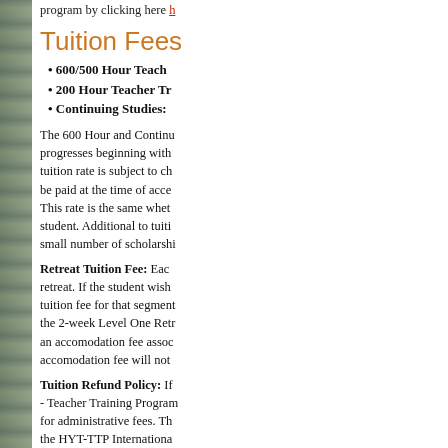program by clicking here
Tuition Fees
600/500 Hour Teach
200 Hour Teacher Tr
Continuing Studies:
The 600 Hour and Continu progresses beginning with tuition rate is subject to ch be paid at the time of acce This rate is the same whet student. Additional to tuiti small number of scholarshi
Retreat Tuition Fee: Each retreat. If the student wish tuition fee for that segment the 2-week Level One Retr an accomodation fee assoc accomodation fee will not
Tuition Refund Policy: If - Teacher Training Program for administrative fees. Th the HYT-TTP Internationa applicant within 30 days o
Apply No